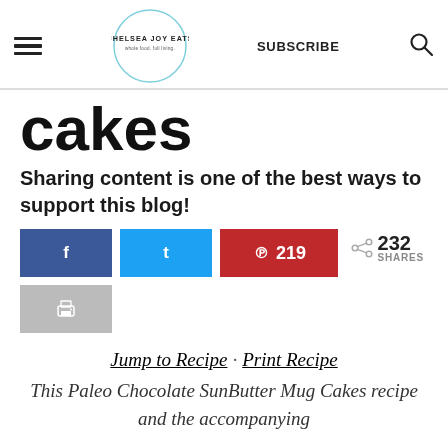CHELSEA JOY EATS | SUBSCRIBE
cakes
Sharing content is one of the best ways to support this blog!
[Figure (infographic): Social sharing buttons: Facebook (blue), Twitter (cyan), Pinterest (red, 219 saves), print button (gray). Share count: 232 SHARES.]
Jump to Recipe · Print Recipe
This Paleo Chocolate SunButter Mug Cakes recipe and the accompanying